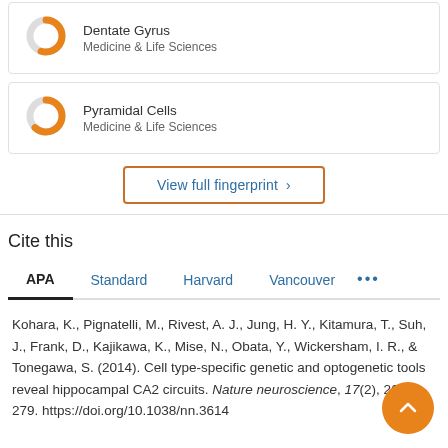[Figure (donut-chart): Donut chart icon for Dentate Gyrus topic, orange and gray]
Dentate Gyrus
Medicine & Life Sciences
[Figure (donut-chart): Donut chart icon for Pyramidal Cells topic, orange and gray]
Pyramidal Cells
Medicine & Life Sciences
View full fingerprint >
Cite this
APA   Standard   Harvard   Vancouver   ...
Kohara, K., Pignatelli, M., Rivest, A. J., Jung, H. Y., Kitamura, T., Suh, J., Frank, D., Kajikawa, K., Mise, N., Obata, Y., Wickersham, I. R., & Tonegawa, S. (2014). Cell type-specific genetic and optogenetic tools reveal hippocampal CA2 circuits. Nature neuroscience, 17(2), 269-279. https://doi.org/10.1038/nn.3614